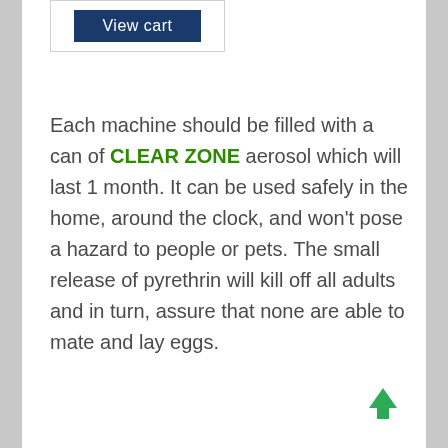[Figure (screenshot): View cart button in dark navy blue with white text, inside a light bordered box]
Each machine should be filled with a can of CLEAR ZONE aerosol which will last 1 month. It can be used safely in the home, around the clock, and won't pose a hazard to people or pets. The small release of pyrethrin will kill off all adults and in turn, assure that none are able to mate and lay eggs.
[Figure (illustration): Green upward arrow icon in bottom right corner]